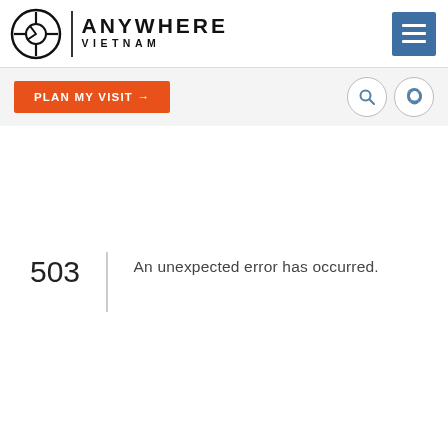[Figure (logo): Anywhere Vietnam logo with circular compass icon, vertical divider, and text 'ANYWHERE VIETNAM']
[Figure (screenshot): Hamburger menu icon (three horizontal white lines on blue/steel background)]
[Figure (infographic): Navigation bar with orange 'PLAN MY VISIT →' button and search/phone icons]
503
An unexpected error has occurred.